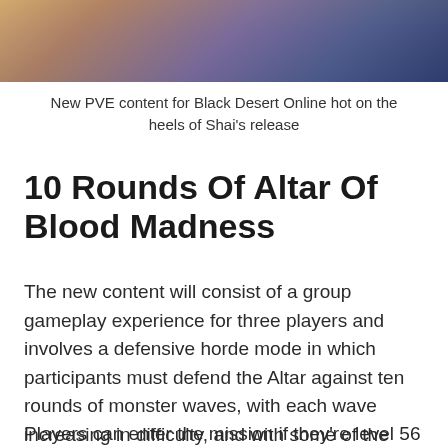[Figure (photo): Game artwork image showing characters from Black Desert Online, with warm and purple-blue tones]
New PVE content for Black Desert Online hot on the heels of Shai's release
10 Rounds Of Altar Of Blood Madness
The new content will consist of a group gameplay experience for three players and involves a defensive horde mode in which participants must defend the Altar against ten rounds of monster waves, with each wave increasing in difficulty, and with some of the game's most powerful and intimidating monsters at the end of the mission.
Players can enter the mission if they're level 56